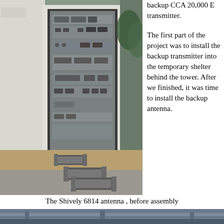[Figure (photo): Photograph of a broadcast transmitter equipment room with open door, showing rack-mounted electronic equipment panels. In the foreground on a wooden ramp are several waveguide/antenna components laid out before assembly.]
backup CCA 20,000 E transmitter.
The first part of the project was to install the backup transmitter into the temporary shelter behind the tower. After we finished, it was time to install the backup antenna.
The Shively 6814 antenna , before assembly
[Figure (photo): Bottom portion of a photograph showing the Shively 6814 antenna components before assembly, appearing to show metal pipe/antenna sections on the ground.]